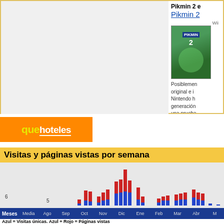[Figure (screenshot): Pikmin 2 Wii game box art image on green background with blue number badge]
Pikmin 2 e
Pikmin 2
Posiblemen original e i Nintendo h generación una prueba genio de M indiferente
[Figure (logo): quehoteles orange logo banner]
Visitas y páginas vistas por semana
[Figure (bar-chart): Stacked bar chart showing weekly visits and page views by month (Ago through Apr/M). Red bars on top of blue bars. Peak in November. Y-axis shows values 5 and 6 labeled.]
Azul = Visitas únicas. Azul + Rojo = Páginas vistas